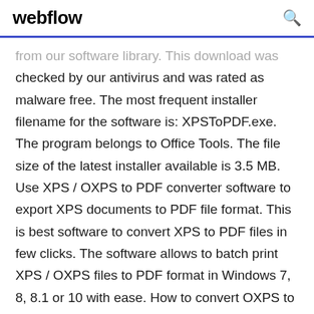webflow
from our software library. This download was checked by our antivirus and was rated as malware free. The most frequent installer filename for the software is: XPSToPDF.exe. The program belongs to Office Tools. The file size of the latest installer available is 3.5 MB. Use XPS / OXPS to PDF converter software to export XPS documents to PDF file format. This is best software to convert XPS to PDF files in few clicks. The software allows to batch print XPS / OXPS files to PDF format in Windows 7, 8, 8.1 or 10 with ease. How to convert OXPS to PDF As we have already discussed, OXPS files have limited use and after some time, they become a challenge, this is when you should think about